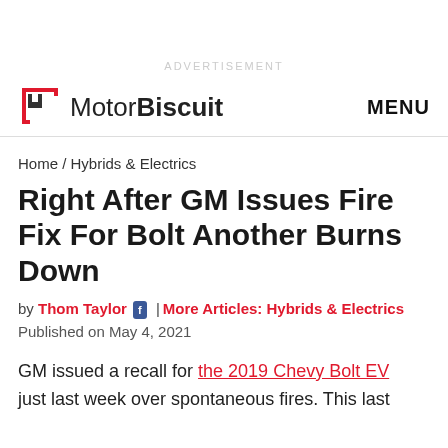ADVERTISEMENT
MotorBiscuit   MENU
Home / Hybrids & Electrics
Right After GM Issues Fire Fix For Bolt Another Burns Down
by Thom Taylor | More Articles: Hybrids & Electrics
Published on May 4, 2021
GM issued a recall for the 2019 Chevy Bolt EV just last week over spontaneous fires. This last